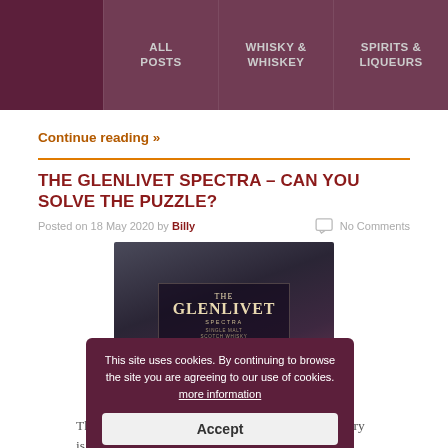ALL POSTS | WHISKY & WHISKEY | SPIRITS & LIQUEURS
Continue reading »
THE GLENLIVET SPECTRA – CAN YOU SOLVE THE PUZZLE?
Posted on 18 May 2020 by Billy   No Comments
[Figure (photo): Photo of The Glenlivet Spectra Single Malt Scotch Whisky bottle label with a cookie consent overlay popup reading: This site uses cookies. By continuing to browse the site you are agreeing to our use of cookies. more information, with an Accept button.]
The Glenlivet is a tricksy whisky. While the distillery is normally